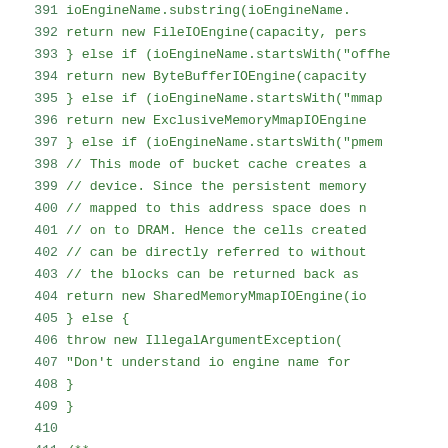[Figure (screenshot): Source code listing lines 391-419 in Java, showing code for IO engine selection with conditional branches for file, offheap, mmap, and pmem engines, plus a cacheBlock method. Line numbers in green on left, code in monospace green font on white background.]